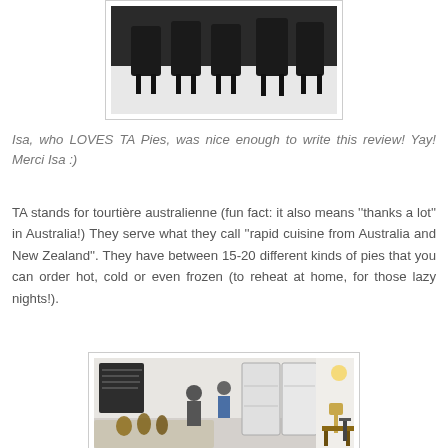[Figure (photo): Interior photo of a cafe/restaurant showing chairs and tables from above, dark furniture on light floor]
Isa, who LOVES TA Pies, was nice enough to write this review! Yay! Merci Isa :)
TA stands for tourtière australienne (fun fact: it also means ''thanks a lot'' in Australia!) They serve what they call ''rapid cuisine from Australia and New Zealand''. They have between 15-20 different kinds of pies that you can order hot, cold or even frozen (to reheat at home, for those lazy nights!).
[Figure (photo): Interior photo of the TA Pies shop showing a display counter, refrigerators with glass doors, chalkboard menu on wall, and staff members]